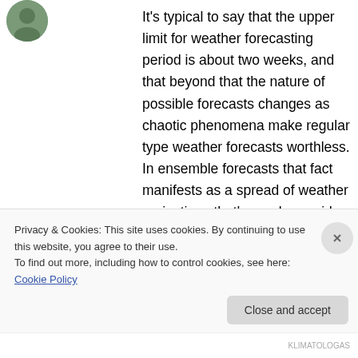[Figure (photo): Small circular avatar photo of a person]
It’s typical to say that the upper limit for weather forecasting period is about two weeks, and that beyond that the nature of possible forecasts changes as chaotic phenomena make regular type weather forecasts worthless. In ensemble forecasts that fact manifests as a spread of weather projections that’s nearly as wide as deduced from historical variability for that time of the year (and possibly even wider, if the historical variability is not used explicitly or
Privacy & Cookies: This site uses cookies. By continuing to use this website, you agree to their use.
To find out more, including how to control cookies, see here: Cookie Policy